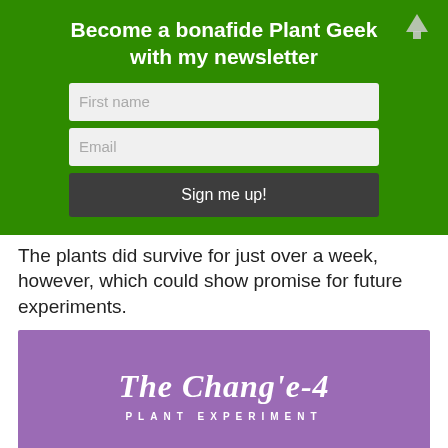Become a bonafide Plant Geek with my newsletter
[Figure (infographic): Newsletter signup form with First name and Email input fields and a 'Sign me up!' button on a green background]
The plants did survive for just over a week, however, which could show promise for future experiments.
[Figure (infographic): Purple banner reading 'The Chang'e-4 PLANT EXPERIMENT']
[Figure (infographic): Dark space-themed image panel with a sprouting plant and text: 'JANUARY 3RD - Chang'e-4 lands on the far side of the Moon and the plant experiment initiates within a few hours inside a']